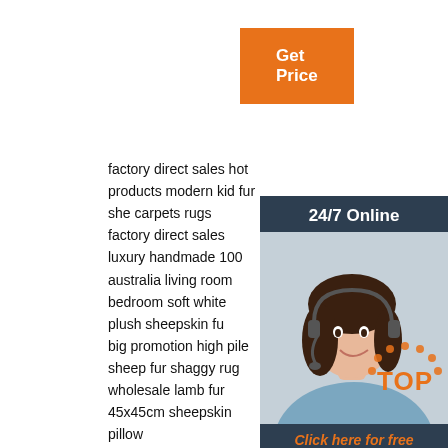[Figure (other): Orange 'Get Price' button]
[Figure (other): Sidebar with '24/7 Online' header, customer service representative photo, 'Click here for free chat!' text, and orange QUOTATION button]
factory direct sales hot products modern kid fur she carpets rugs
factory direct sales luxury handmade 100 australia living room bedroom soft white plush sheepskin fu
big promotion high pile sheep fur shaggy rug
wholesale lamb fur 45x45cm sheepskin pillow
sheepskin linen double sided pillow cushion cover embroidered pillow case kilim cushion cover sheep chair
cutting anti slip carpet pads sheepskin fur woolen blankets
sell anti-slip rugs shaggy embossed bedroom 100 sheepskin sheep fur carpet living room sheepskin rugs fur floor mats lamb fur carpets living room carpet
factory direct sales eco-friendly sheepskin sheep fur flannel
[Figure (logo): Red/orange dotted TOP logo]